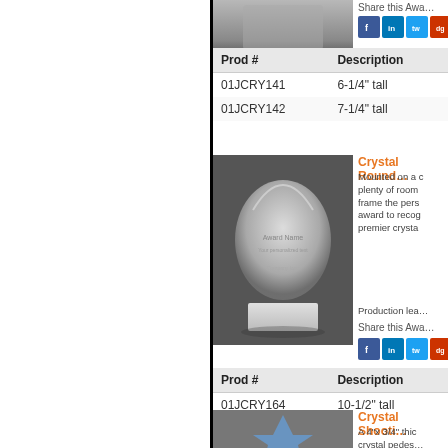[Figure (photo): Crystal award product photo partially cropped at top, showing grey award on dark background]
Share this Awa…
[Figure (infographic): Social media share icons: Facebook, LinkedIn, Twitter, Digg]
| Prod # | Description |
| --- | --- |
| 01JCRY141 | 6-1/4" tall |
| 01JCRY142 | 7-1/4" tall |
[Figure (photo): Crystal Rounded award product photo showing egg/teardrop shaped crystal on white base against dark background]
Crystal Round…
Mounted on a c plenty of room frame the pers award to recog premier crysta
Production lea…
Share this Awa…
[Figure (infographic): Social media share icons: Facebook, LinkedIn, Twitter, Digg]
| Prod # | Description |
| --- | --- |
| 01JCRY164 | 10-1/2" tall |
[Figure (photo): Crystal Shooting Star award product photo partially visible, showing blue star shape]
Crystal Shooti…
A 4"x 3/4" thic crystal pedes…